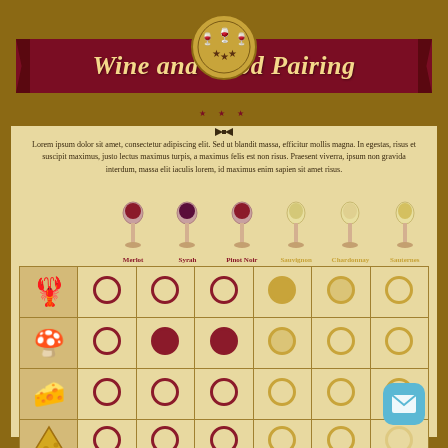Wine and Food Pairing
Lorem ipsum dolor sit amet, consectetur adipiscing elit. Sed ut blandit massa, efficitur mollis magna. In egestas, risus et suscipit maximus, justo lectus maximus turpis, a maximus felis est non risus. Praesent viverra, ipsum non gravida interdum, massa elit iaculis lorem, id maximus enim sapien sit amet risus.
[Figure (infographic): Wine and food pairing matrix showing wine glass icons for Merlot, Syrah, Pinot Noir, Sauvignon, Chardonnay, Sauternes across the top, and food icons (lobster, oysters/mushroom, cheese wedge, cheese slice) down the left side, with filled and empty circles indicating pairing strength]